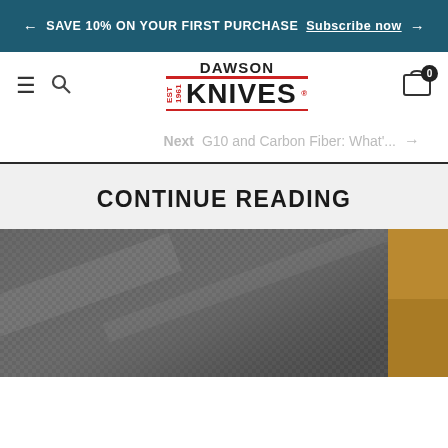← SAVE 10% ON YOUR FIRST PURCHASE  Subscribe now  →
[Figure (logo): Dawson Knives logo with hamburger menu, search icon, and cart icon with badge 0]
Next  G10 and Carbon Fiber: What'...  →
CONTINUE READING
[Figure (photo): Close-up of carbon fiber material texture, grey woven pattern]